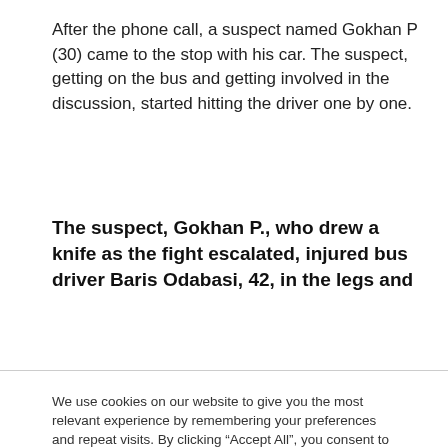After the phone call, a suspect named Gokhan P (30) came to the stop with his car. The suspect, getting on the bus and getting involved in the discussion, started hitting the driver one by one.
The suspect, Gokhan P., who drew a knife as the fight escalated, injured bus driver Baris Odabasi, 42, in the legs and
We use cookies on our website to give you the most relevant experience by remembering your preferences and repeat visits. By clicking “Accept All”, you consent to the use of ALL the cookies. However, you may visit "Cookie Settings" to provide a controlled consent.